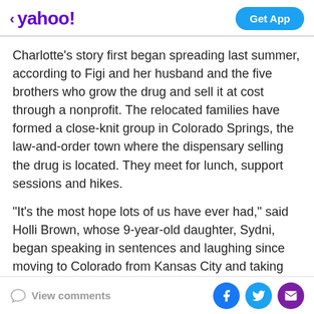< yahoo!  Get App
Charlotte's story first began spreading last summer, according to Figi and her husband and the five brothers who grow the drug and sell it at cost through a nonprofit. The relocated families have formed a close-knit group in Colorado Springs, the law-and-order town where the dispensary selling the drug is located. They meet for lunch, support sessions and hikes.
"It's the most hope lots of us have ever had," said Holli Brown, whose 9-year-old daughter, Sydni, began speaking in sentences and laughing since moving to Colorado from Kansas City and taking the marijuana strain.
Amy Brooks-Kayal, vice president of the American
View comments